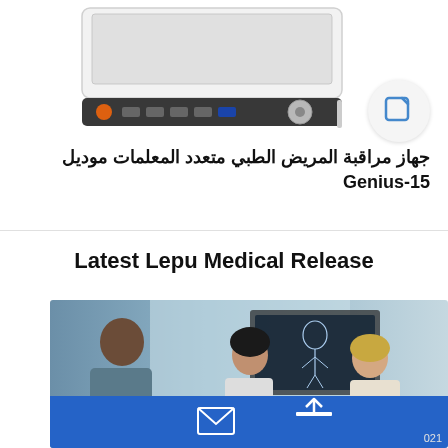[Figure (illustration): Medical patient monitor device (Genius-15 model) shown from front, with control panel visible]
[Figure (illustration): Edit/pencil icon button in a circular button on the right side]
جهاز مراقبة المريض الطبي متعدد المعلمات موديل Genius-15
Latest Lepu Medical Release
[Figure (photo): Photo of medical professionals (a man in scrubs and two women) in a clinical setting, with a screen showing anatomical diagrams in the background]
021